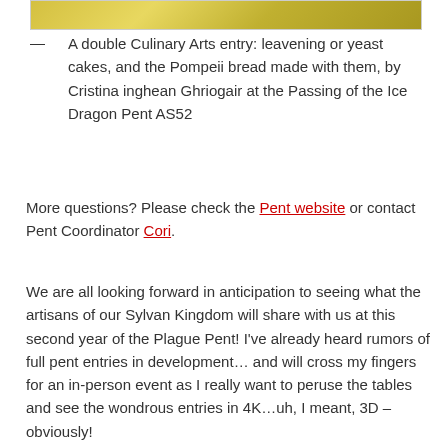[Figure (photo): Partial photo strip showing a yellow/golden background with a white object, cut off at top of page]
— A double Culinary Arts entry: leavening or yeast cakes, and the Pompeii bread made with them, by Cristina inghean Ghriogair at the Passing of the Ice Dragon Pent AS52
More questions? Please check the Pent website or contact Pent Coordinator Cori.
We are all looking forward in anticipation to seeing what the artisans of our Sylvan Kingdom will share with us at this second year of the Plague Pent! I've already heard rumors of full pent entries in development… and will cross my fingers for an in-person event as I really want to peruse the tables and see the wondrous entries in 4K…uh, I meant, 3D – obviously!